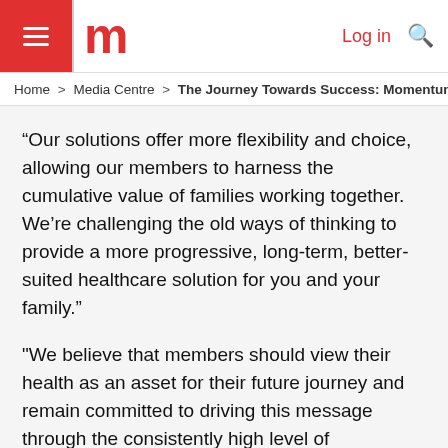m  Log in 🔍
Home > Media Centre > The Journey Towards Success: Momentum
“Our solutions offer more flexibility and choice, allowing our members to harness the cumulative value of families working together. We’re challenging the old ways of thinking to provide a more progressive, long-term, better-suited healthcare solution for you and your family.”
"We believe that members should view their health as an asset for their future journey and remain committed to driving this message through the consistently high level of